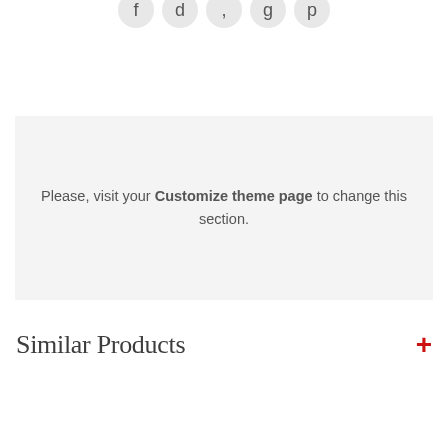[Figure (other): Row of circular icon buttons partially visible at the top of the page]
Please, visit your Customize theme page to change this section.
Similar Products